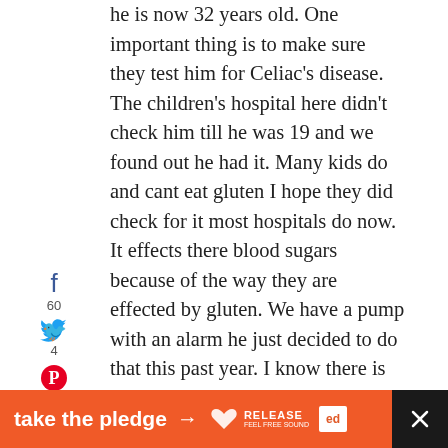he is now 32 years old. One important thing is to make sure they test him for Celiac's disease. The children's hospital here didn't check him till he was 19 and we found out he had it. Many kids do and cant eat gluten I hope they did check for it most hospitals do now. It effects there blood sugars because of the way they are effected by gluten. We have a pump with an alarm he just decided to do that this past year. I know there is so much information online to help new parents with it now. Make sure they are insulin and Glucagon trained at school . I had a lawyer to help me make sure our schools here in California followed my IEP we had for him for other health impaired. Our school had 6 people always on site trained to give these items. I made sure he didnt hang out where
[Figure (infographic): Social sharing sidebar with Facebook (60), Twitter (4), Pinterest (201), Yummly icons, and 265 SHARES total]
[Figure (infographic): Right side floating buttons: heart/like button with 267 count and share button]
[Figure (infographic): Orange banner at bottom: 'take the pledge' with arrow, Release logo, Ed logo, and close X button]